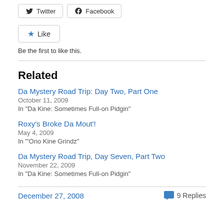[Figure (other): Twitter and Facebook share buttons]
[Figure (other): Like button with star icon]
Be the first to like this.
Related
Da Mystery Road Trip: Day Two, Part One
October 11, 2009
In "Da Kine: Sometimes Full-on Pidgin"
Roxy's Broke Da Mout'!
May 4, 2009
In "'Ono Kine Grindz"
Da Mystery Road Trip, Day Seven, Part Two
November 22, 2009
In "Da Kine: Sometimes Full-on Pidgin"
December 27, 2008
9 Replies